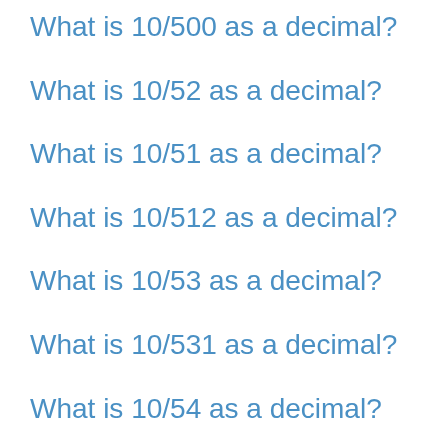What is 10/500 as a decimal?
What is 10/52 as a decimal?
What is 10/51 as a decimal?
What is 10/512 as a decimal?
What is 10/53 as a decimal?
What is 10/531 as a decimal?
What is 10/54 as a decimal?